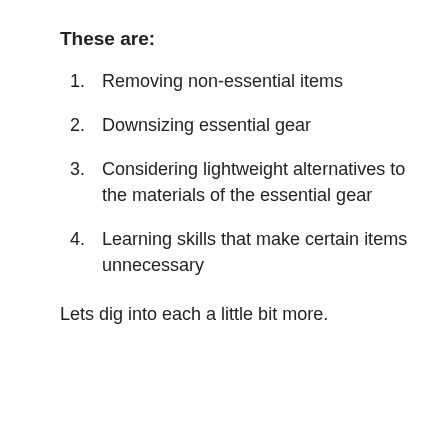These are:
Removing non-essential items
Downsizing essential gear
Considering lightweight alternatives to the materials of the essential gear
Learning skills that make certain items unnecessary
Lets dig into each a little bit more.